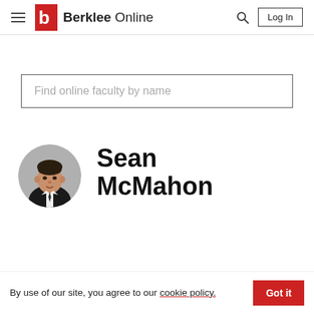Berklee Online — navigation bar with hamburger menu, logo, search icon, and Log In button
Find online faculty by name
[Figure (photo): Circular headshot photo of Sean McMahon, a man in a dark suit against a grey background]
Sean McMahon
By use of our site, you agree to our cookie policy.